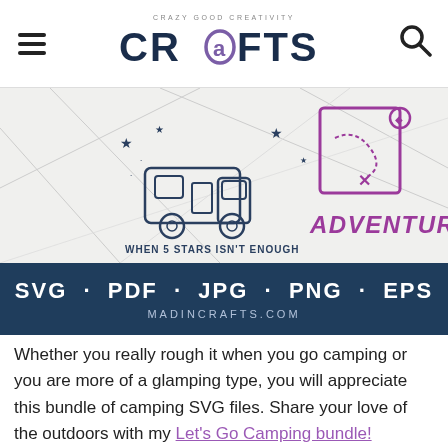Mad in Crafts — Crazy Good Creativity
[Figure (illustration): Camping SVG bundle promotional banner showing a cartoon RV/camper van with stars and text 'WHEN 5 STARS ISN'T ENOUGH' on the left, and an adventure map/treasure map illustration with the word 'ADVENTURE' in purple on the right. White geometric background.]
[Figure (infographic): Dark navy blue banner with white bold text 'SVG - PDF - JPG - PNG - EPS' and smaller text 'MADINCRAFTS.COM' below]
Whether you really rough it when you go camping or you are more of a glamping type, you will appreciate this bundle of camping SVG files. Share your love of the outdoors with my Let's Go Camping bundle!